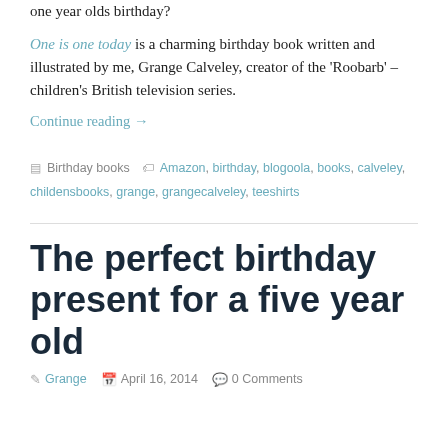one year olds birthday?
One is one today is a charming birthday book written and illustrated by me, Grange Calveley, creator of the ‘Roobarb’ – children’s British television series.
Continue reading →
Birthday books   Amazon, birthday, blogoola, books, calveley, childensbooks, grange, grangecalveley, teeshirts
The perfect birthday present for a five year old
Grange   April 16, 2014   0 Comments